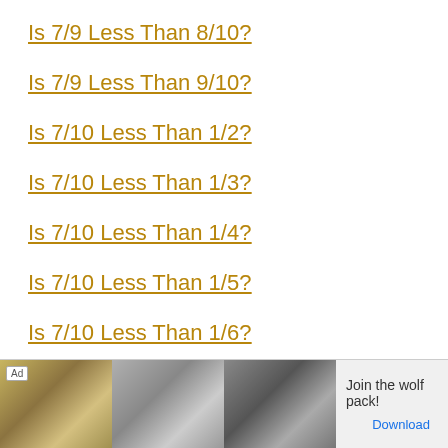Is 7/9 Less Than 8/10?
Is 7/9 Less Than 9/10?
Is 7/10 Less Than 1/2?
Is 7/10 Less Than 1/3?
Is 7/10 Less Than 1/4?
Is 7/10 Less Than 1/5?
Is 7/10 Less Than 1/6?
Is 7/10 Less Than 1/7?
Is 7/...
[Figure (other): Advertisement banner showing wolves with text 'Join the wolf pack!' and a Download button]